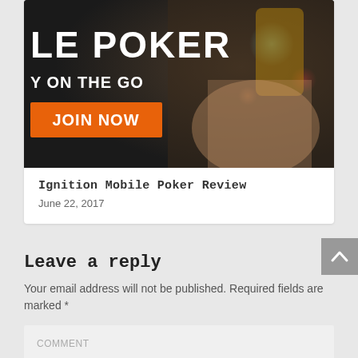[Figure (photo): Mobile poker promotional image showing a hand holding a smartphone. Text overlay reads 'LE POKER', 'Y ON THE GO', and an orange button 'JOIN NOW'. Dark bokeh background with a heart shape light.]
Ignition Mobile Poker Review
June 22, 2017
Leave a reply
Your email address will not be published. Required fields are marked *
COMMENT